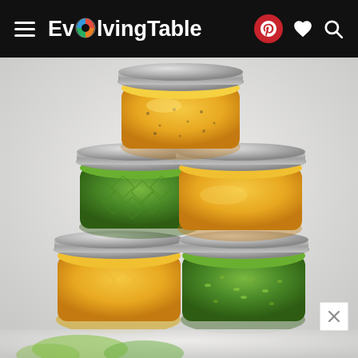Evolving Table
[Figure (photo): Five small mason jars filled with various dressings or sauces (yellow/golden and green), stacked in a pyramid formation on a light gray background. Two jars on the bottom row, two in the middle row, one on top. The jars have silver metal lids. A close button (×) appears in the lower right corner. A partial view of a salad appears at the very bottom of the image.]